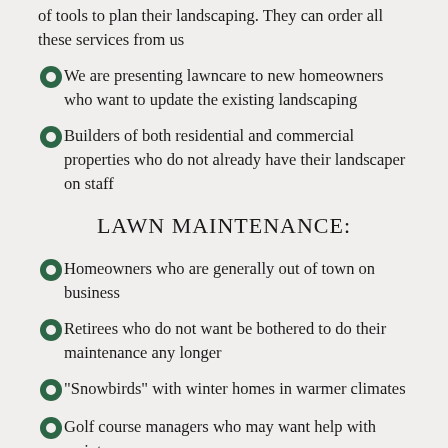of tools to plan their landscaping. They can order all these services from us
We are presenting lawncare to new homeowners who want to update the existing landscaping
Builders of both residential and commercial properties who do not already have their landscaper on staff
LAWN MAINTENANCE:
Homeowners who are generally out of town on business
Retirees who do not want be bothered to do their maintenance any longer
"Snowbirds" with winter homes in warmer climates
Golf course managers who may want help with maintenance
Amenities managers municipalities, and other